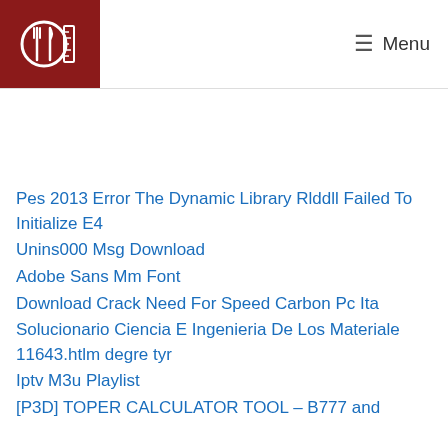Menu
Pes 2013 Error The Dynamic Library Rlddll Failed To Initialize E4
Unins000 Msg Download
Adobe Sans Mm Font
Download Crack Need For Speed Carbon Pc Ita
Solucionario Ciencia E Ingenieria De Los Materiale 11643.htlm degre tyr
Iptv M3u Playlist
[P3D] TOPER CALCULATOR TOOL – B777 and